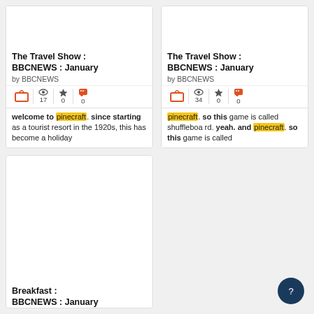[Figure (screenshot): Card: The Travel Show : BBCNEWS : January by BBCNEWS, with stats 17, 0, 0 and snippet about pinecraft]
[Figure (screenshot): Card: The Travel Show : BBCNEWS : January by BBCNEWS, with stats 34, 0, 0 and snippet about pinecraft]
[Figure (screenshot): Card: Breakfast : BBCNEWS : January by BBCNEWS, with stats 54, 0, 0]